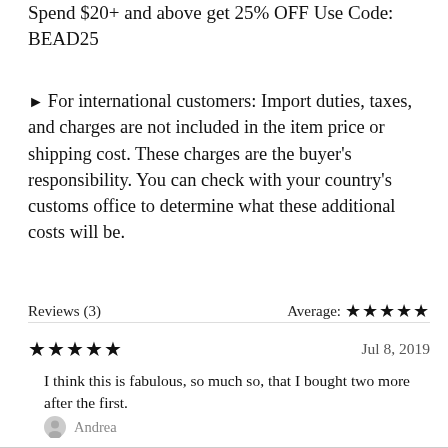Spend $20+ and above get 25% OFF Use Code: BEAD25
► For international customers: Import duties, taxes, and charges are not included in the item price or shipping cost. These charges are the buyer's responsibility. You can check with your country's customs office to determine what these additional costs will be.
Reviews (3)   Average: ★★★★★
★★★★☆   Jul 8, 2019
I think this is fabulous, so much so, that I bought two more after the first.
Andrea